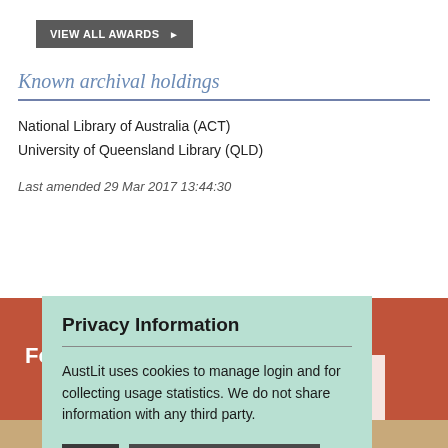VIEW ALL AWARDS ▶
Known archival holdings
National Library of Australia (ACT)
University of Queensland Library (QLD)
Last amended 29 Mar 2017 13:44:30
Privacy Information
AustLit uses cookies to manage login and for collecting usage statistics. We do not share information with any third party.
OK  See AustLit Privacy Policy